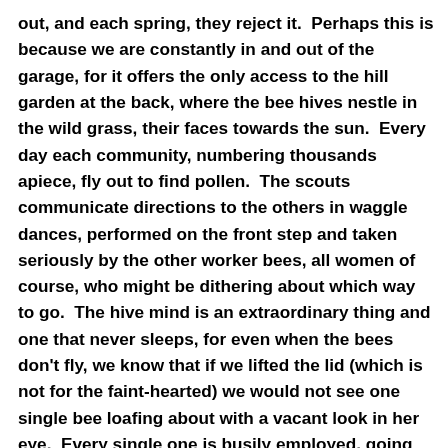out, and each spring, they reject it.  Perhaps this is because we are constantly in and out of the garage, for it offers the only access to the hill garden at the back, where the bee hives nestle in the wild grass, their faces towards the sun.  Every day each community, numbering thousands apiece, fly out to find pollen.  The scouts communicate directions to the others in waggle dances, performed on the front step and taken seriously by the other worker bees, all women of course, who might be dithering about which way to go.  The hive mind is an extraordinary thing and one that never sleeps, for even when the bees don't fly, we know that if we lifted the lid (which is not for the faint-hearted) we would not see one single bee loafing about with a vacant look in her eye.  Every single one is busily employed, going about her business mindfully, intelligently, continuously.  Any